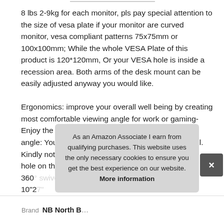8 lbs 2-9kg for each monitor, pls pay special attention to the size of vesa plate if your monitor are curved monitor, vesa compliant patterns 75x75mm or 100x100mm; While the whole VESA Plate of this product is 120*120mm, Or your VESA hole is inside a recession area. Both arms of the desk mount can be easily adjusted anyway you would like.

Ergonomics: improve your overall well being by creating most comfortable viewing angle for work or gaming- Enjoy the freedom to adjust your monitor height and angle: Your spine, neck and shoulder will be thankful. Kindly noted: 1 usb cables are not provided, the usb hole on the basis is only for diy purp... 360... 10"2...
As an Amazon Associate I earn from qualifying purchases. This website uses the only necessary cookies to ensure you get the best experience on our website. More information